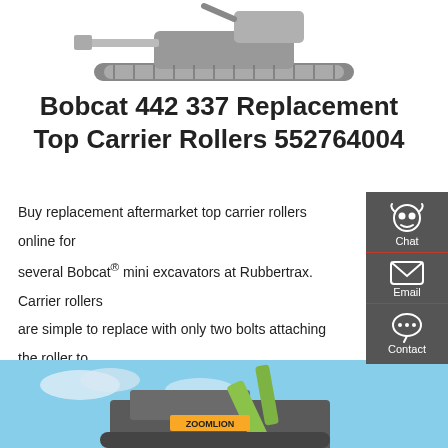[Figure (photo): Partial view of a Bobcat mini excavator / compact track loader with rubber tracks, photographed from slightly above, white background]
Bobcat 442 337 Replacement Top Carrier Rollers 552764004
Buy replacement aftermarket top carrier rollers online for several Bobcat® mini excavators at Rubbertrax. Carrier rollers are simple to replace with only two bolts attaching the roller to the track frame which can be done without completely removing the rubber track. We do NOT supply the installation hardware at this time.
[Figure (infographic): Right-side floating sidebar with dark gray background showing three contact options: Chat (headset icon), Email (envelope icon), Contact (speech bubble icon), separated by red dividers]
[Figure (photo): Bottom portion of a Zoomlion mini excavator in green/yellow color against a blue sky background]
Get a quote